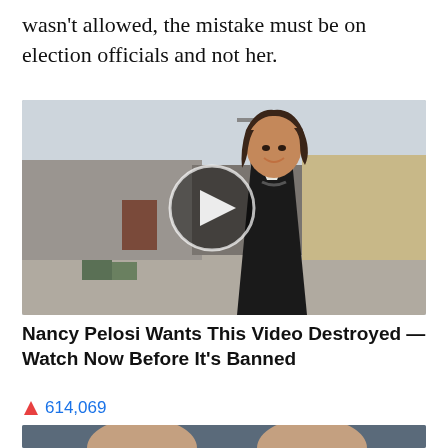wasn't allowed, the mistake must be on election officials and not her.
[Figure (photo): A woman in a dark jacket smiling outdoors near an industrial building. A circular play button overlay is centered on the image indicating a video thumbnail.]
Nancy Pelosi Wants This Video Destroyed — Watch Now Before It's Banned
🔥 614,069
[Figure (photo): Partial view of two people's heads at the bottom of the page, cropped.]